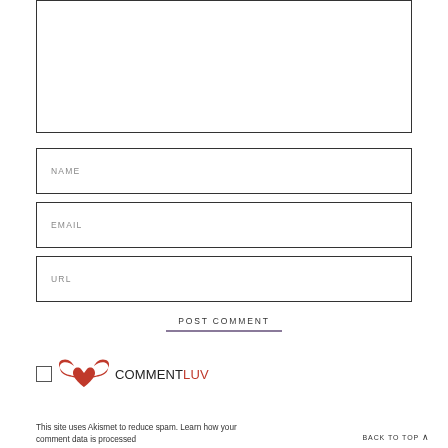[Figure (other): Comment textarea input box (empty, bordered rectangle)]
NAME
EMAIL
URL
POST COMMENT
[Figure (logo): CommentLuv logo with checkbox — red winged heart icon followed by COMMENT in dark text and LUV in red text]
This site uses Akismet to reduce spam. Learn how your comment data is processed